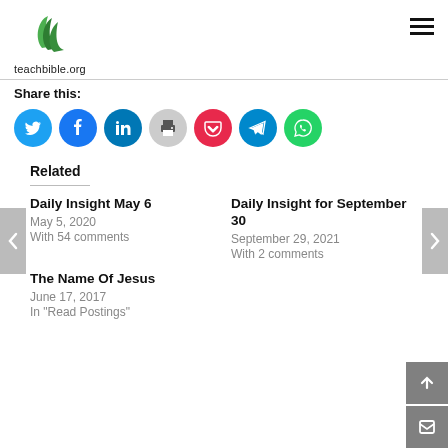[Figure (logo): teachbible.org logo with green leaf icon and site name]
Share this:
[Figure (infographic): Row of social sharing icon buttons: Twitter, Facebook, LinkedIn, Print, Pocket, Telegram, WhatsApp]
Related
Daily Insight May 6
May 5, 2020
With 54 comments
Daily Insight for September 30
September 29, 2021
With 2 comments
The Name Of Jesus
June 17, 2017
In "Read Postings"